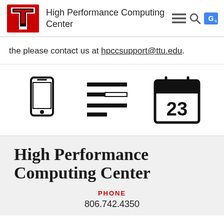High Performance Computing Center
the please contact us at hpccsupport@ttu.edu.
[Figure (infographic): Three icons: a mobile phone icon, a list/widget icon, and a calendar showing the number 23.]
High Performance Computing Center
PHONE
806.742.4350